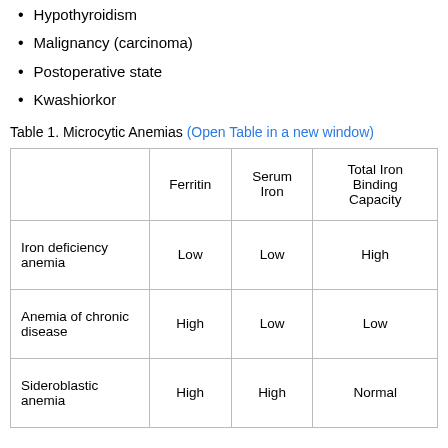Hypothyroidism
Malignancy (carcinoma)
Postoperative state
Kwashiorkor
Table 1. Microcytic Anemias (Open Table in a new window)
|  | Ferritin | Serum Iron | Total Iron Binding Capacity |
| --- | --- | --- | --- |
| Iron deficiency anemia | Low | Low | High |
| Anemia of chronic disease | High | Low | Low |
| Sideroblastic anemia | High | High | Normal |